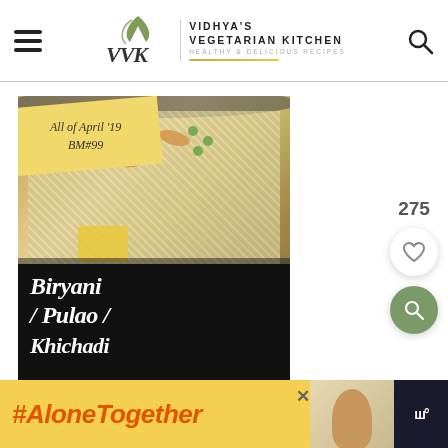[Figure (logo): Vidhya's Vegetarian Kitchen logo with VVK monogram and leaf motif]
VIDHYA'S VEGETARIAN KITCHEN HEALTHY & DELICIOUS RECIPES
[Figure (photo): A steel pot filled with biryani/pulao rice dish topped with cashews, almonds, peas and vegetables. Yellow banner overlay reads 'All of April '19 BM#99'. Black bottom section with script text 'Biryani / Pulao / Khichadi']
275
[Figure (infographic): Ad banner with #AloneTogether hashtag text in orange on yellow background, with a thumbnail of a woman eating and a mute icon on dark background]